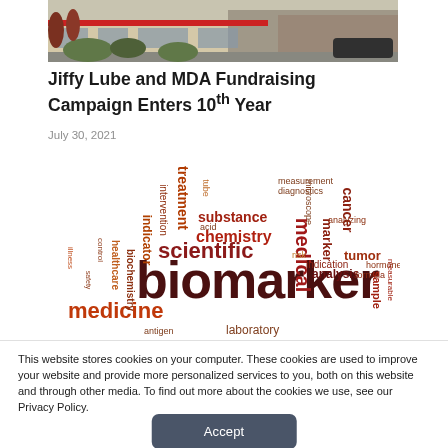[Figure (photo): Exterior photo of a commercial building (likely a Jiffy Lube location) with parking lot, landscaping, and storefronts visible.]
Jiffy Lube and MDA Fundraising Campaign Enters 10th Year
July 30, 2021
[Figure (infographic): Word cloud related to biomarkers and medical/scientific terminology. Prominent words include: biomarker, scientific, medicine, chemistry, medical, substance, treatment, cancer, marker, sample, analysis, indicator, healthcare, biochemistry, tumor, indication, formula, hormone, antigen, laboratory, measurement, diagnostics, microscope, intervention, tube, acid, risk, analyzing.]
This website stores cookies on your computer. These cookies are used to improve your website and provide more personalized services to you, both on this website and through other media. To find out more about the cookies we use, see our Privacy Policy.